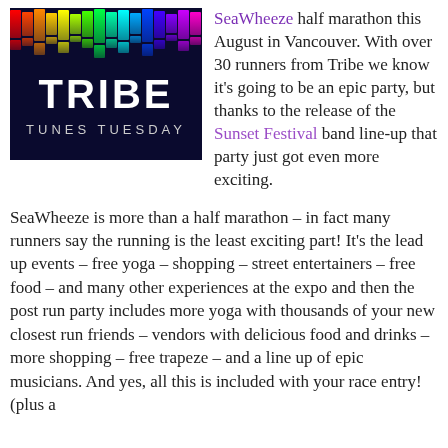[Figure (illustration): Tribe Tunes Tuesday promotional image with colorful vertical bars (rainbow spectrum) at top on dark background, large bold white text 'TRIBE' in center, smaller text 'TUNES TUESDAY' below]
SeaWheeze half marathon this August in Vancouver. With over 30 runners from Tribe we know it's going to be an epic party, but thanks to the release of the Sunset Festival band line-up that party just got even more exciting.
SeaWheeze is more than a half marathon – in fact many runners say the running is the least exciting part! It's the lead up events – free yoga – shopping – street entertainers – free food – and many other experiences at the expo and then the post run party includes more yoga with thousands of your new closest run friends – vendors with delicious food and drinks – more shopping – free trapeze – and a line up of epic musicians. And yes, all this is included with your race entry! (plus a